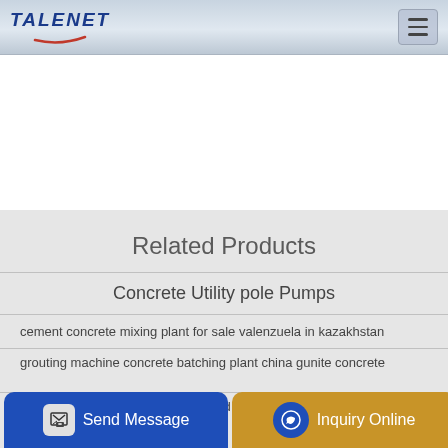TALENET
Related Products
Concrete Utility pole Pumps
cement concrete mixing plant for sale valenzuela in kazakhstan
grouting machine concrete batching plant china gunite concrete
Vibrating Screed Concrete Plant and Tool Hire Belfast